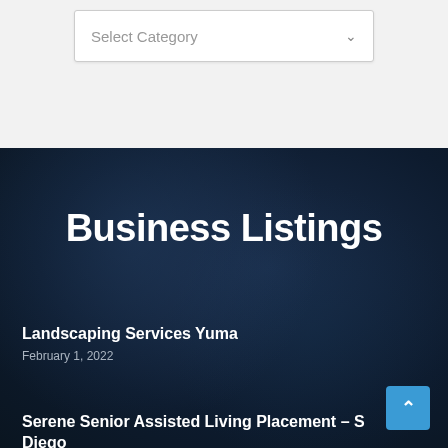[Figure (screenshot): Dropdown select field with placeholder text 'Select Category' and a chevron arrow on a light gray background]
Business Listings
Landscaping Services Yuma
February 1, 2022
Serene Senior Assisted Living Placement – S Diego
May 13, 2022